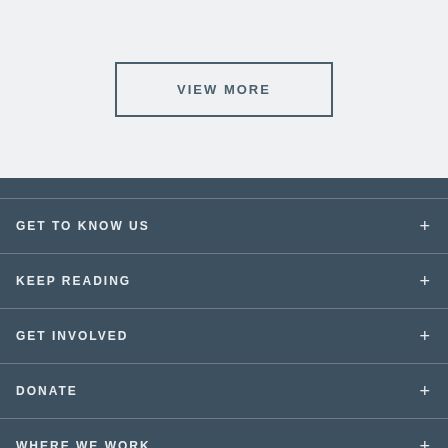VIEW MORE
GET TO KNOW US
KEEP READING
GET INVOLVED
DONATE
WHERE WE WORK